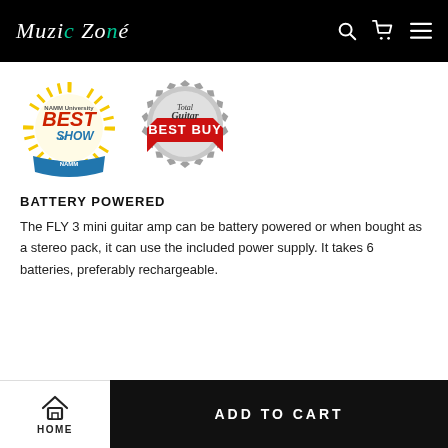Muzic Zoné
[Figure (logo): NAMM University Best of Show award badge with yellow sunburst design and blue/red text]
[Figure (logo): Total Guitar Best Buy silver seal badge with red ribbon banner]
BATTERY POWERED
The FLY 3 mini guitar amp can be battery powered or when bought as a stereo pack, it can use the included power supply. It takes 6 batteries, preferably rechargeable.
HOME | ADD TO CART